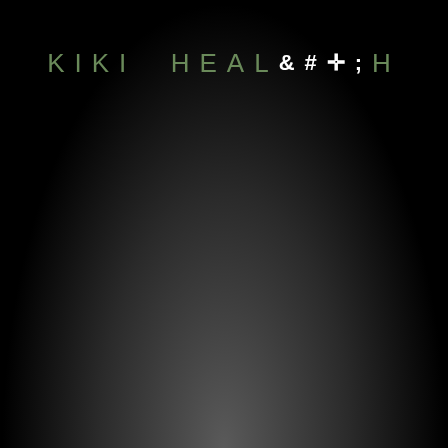[Figure (logo): KIKI HEALTH brand logo on black-to-dark-grey gradient background. Text reads 'KIKI HEALTH' with a white cross symbol replacing the 'T' in 'HEALTH', rendered in muted green/grey spaced uppercase letters.]